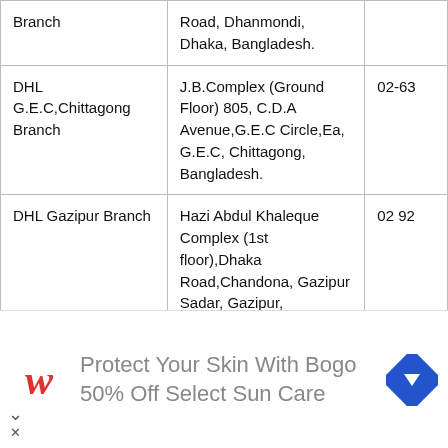| Branch | Address | Phone |
| --- | --- | --- |
| Branch | Road, Dhanmondi, Dhaka, Bangladesh. |  |
| DHL G.E.C,Chittagong Branch | J.B.Complex (Ground Floor) 805, C.D.A Avenue,G.E.C Circle,Ea, G.E.C, Chittagong, Bangladesh. | 02-63 |
| DHL Gazipur Branch | Hazi Abdul Khaleque Complex (1st floor),Dhaka Road,Chandona, Gazipur Sadar, Gazipur, Bangladesh. | 02 92 |
| DHL Gulshan 2 Branch | Shop no.# 2,6,7(Ground Floor) Golden Plaza Shopping Complex,, Gulshan | 02 88261 |
[Figure (infographic): Advertisement banner: Walgreens logo with text 'Protect Your Skin With Bogo 50% Off Select Sun Care' and a blue navigation arrow icon]